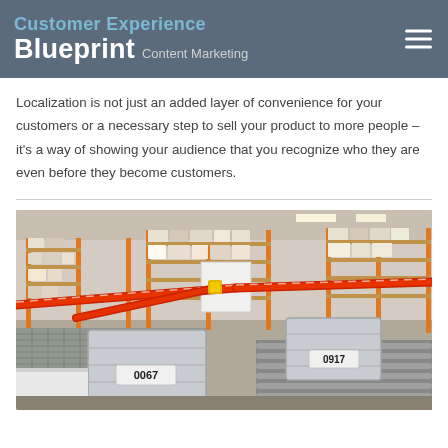Customer Experience Blueprint | Content Marketing
Localization is not just an added layer of convenience for your customers or a necessary step to sell your product to more people – it's a way of showing your audience that you recognize who they are even before they become customers.
[Figure (photo): Warehouse interior with orange shelving racks stocked with boxes, red conveyor tubes/rails running through the space, and gray plastic storage bins labeled 0067 and 0917 on roller conveyors in the foreground.]